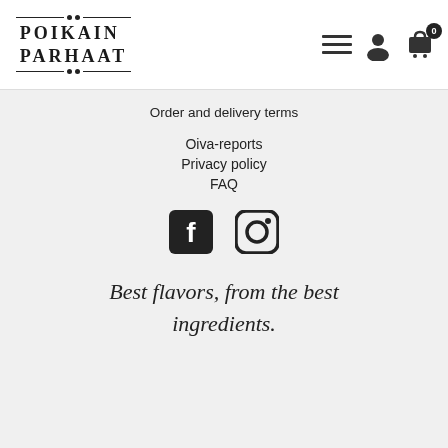[Figure (logo): Poikain Parhaat logo with decorative horizontal rules and serif bold uppercase text]
Order and delivery terms
Oiva-reports
Privacy policy
FAQ
[Figure (illustration): Facebook and Instagram social media icons]
Best flavors, from the best ingredients.